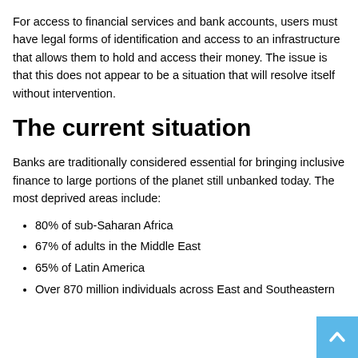For access to financial services and bank accounts, users must have legal forms of identification and access to an infrastructure that allows them to hold and access their money. The issue is that this does not appear to be a situation that will resolve itself without intervention.
The current situation
Banks are traditionally considered essential for bringing inclusive finance to large portions of the planet still unbanked today. The most deprived areas include:
80% of sub-Saharan Africa
67% of adults in the Middle East
65% of Latin America
Over 870 million individuals across East and Southeastern